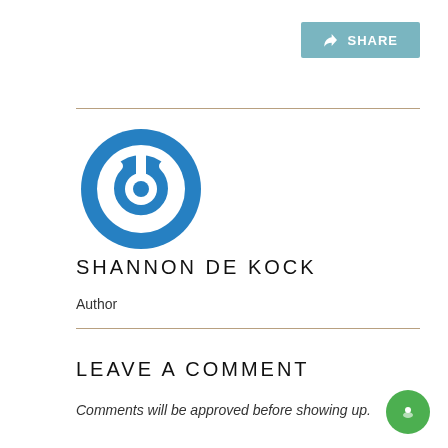[Figure (other): Share button with icon, teal/blue background, white text reading SHARE]
[Figure (logo): Blue circular power button logo icon]
SHANNON DE KOCK
Author
LEAVE A COMMENT
Comments will be approved before showing up.